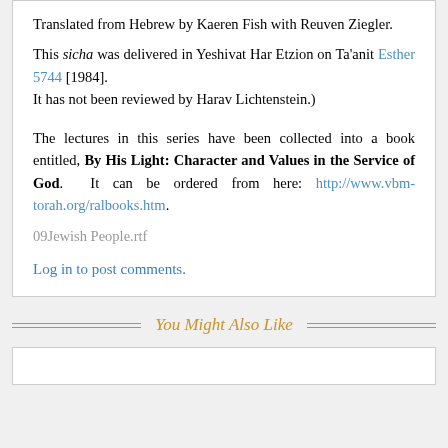Translated from Hebrew by Kaeren Fish with Reuven Ziegler. This sicha was delivered in Yeshivat Har Etzion on Ta'anit Esther 5744 [1984]. It has not been reviewed by Harav Lichtenstein.)
The lectures in this series have been collected into a book entitled, By His Light: Character and Values in the Service of God. It can be ordered from here: http://www.vbm-torah.org/ralbooks.htm.
09Jewish People.rtf
Log in to post comments.
You Might Also Like